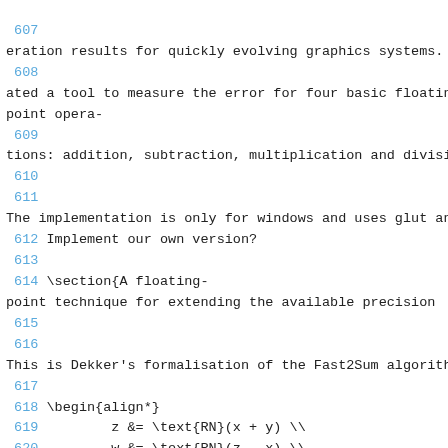607
eration results for quickly evolving graphics systems. W
608
ated a tool to measure the error for four basic floating
point opera-
609
tions: addition, subtraction, multiplication and divisio
610
611
The implementation is only for windows and uses glut anc
612 Implement our own version?
613
614 \section{A floating-
point technique for extending the available precision  \
615
616
This is Dekker's formalisation of the Fast2Sum algorithm
617
618 \begin{align*}
619         z &= \text{RN}(x + y) \\
620         w &= \text{RN}(z - x) \\
621         zz &= \text{RN}(y - w) \\
622         \implies z + zz &= x + y
623 \end{align*}
624